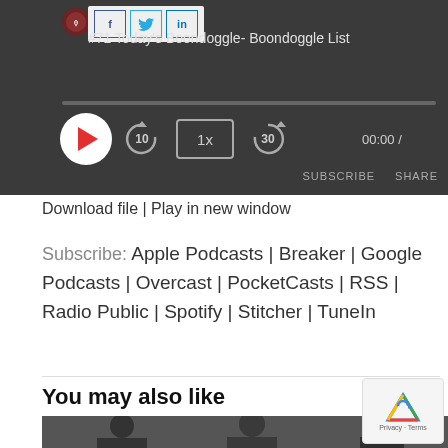[Figure (screenshot): Podcast audio player with dark background showing episode '#71 Today's Boondoggle- Boondoggle List', social sharing buttons (f, bird, in), play button, skip 10 back, 1x speed, skip 30 forward controls, progress bar, time 00:00, SUBSCRIBE and SHARE links]
Download file | Play in new window
Subscribe: Apple Podcasts | Breaker | Google Podcasts | Overcast | PocketCasts | RSS | Radio Public | Spotify | Stitcher | TuneIn
You may also like
[Figure (photo): Photo of three men, appears to be a music group or band, dark background]